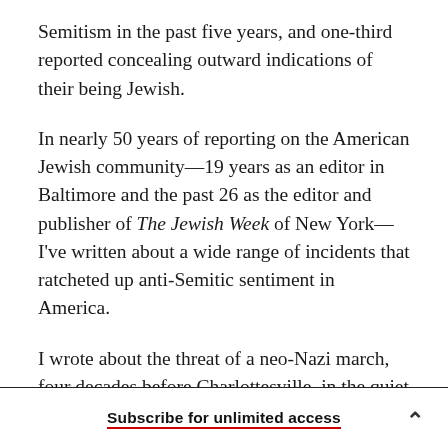Semitism in the past five years, and one-third reported concealing outward indications of their being Jewish.
In nearly 50 years of reporting on the American Jewish community—19 years as an editor in Baltimore and the past 26 as the editor and publisher of The Jewish Week of New York—I've written about a wide range of incidents that ratcheted up anti-Semitic sentiment in America.
I wrote about the threat of a neo-Nazi march, four decades before Charlottesville, in the quiet Chicago
Subscribe for unlimited access